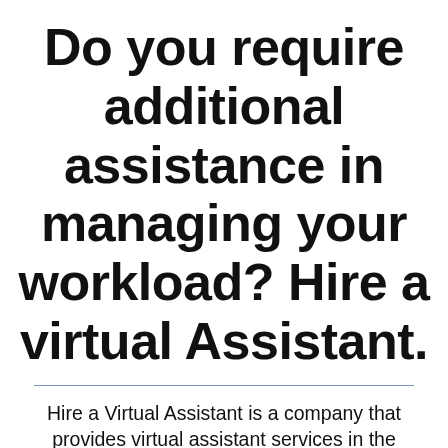Do you require additional assistance in managing your workload? Hire a virtual Assistant.
Hire a Virtual Assistant is a company that provides virtual assistant services in the United States, Kentucky, Woodford, Midway, Versailles. It is a leading online personal assistant service provider offering personal virtual assistance and